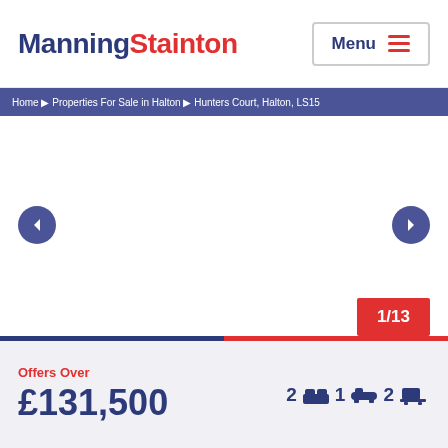ManningStainton | Menu
Home ▶ Properties For Sale in Halton ▶ Hunters Court, Halton, LS15
[Figure (photo): Property image carousel showing 1 of 13 images, with left and right navigation arrows]
Offers Over
£131,500
2 [bed] 1 [sofa] 2 [bath]